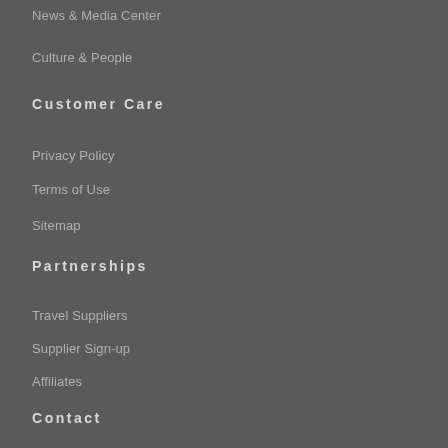News & Media Center
Culture & People
Customer Care
Privacy Policy
Terms of Use
Sitemap
Partnerships
Travel Suppliers
Supplier Sign-up
Affiliates
Contact
1-800-590-8125
9859 Big Bend Road, Suite 201